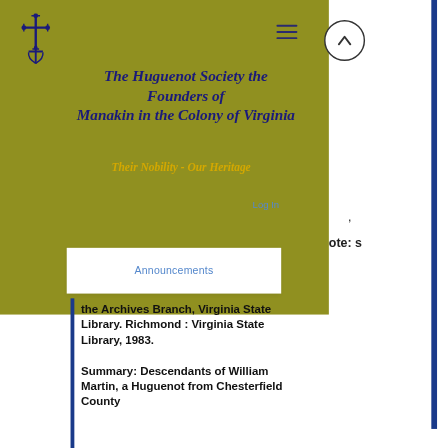[Figure (logo): Huguenot Society decorative cross and anchor logo in dark blue]
The Huguenot Society the Founders of Manakin in the Colony of Virginia
Their Nobility - Our Heritage
Log In
Announcements
note: s
the Archives Branch, Virginia State Library. Richmond : Virginia State Library, 1983.
Summary: Descendants of William Martin, a Huguenot from Chesterfield County